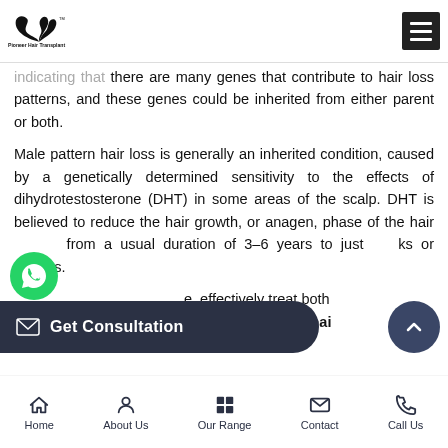[Figure (logo): Pioneer Hair Transplant logo with bird/hair wing icon and brand name]
indicating that there are many genes that contribute to hair loss patterns, and these genes could be inherited from either parent or both.
Male pattern hair loss is generally an inherited condition, caused by a genetically determined sensitivity to the effects of dihydrotestosterone (DHT) in some areas of the scalp. DHT is believed to reduce the hair growth, or anagen, phase of the hair [follicle], from a usual duration of 3-6 years to just [wee]ks or months.
[...e, effectively treat both ...ss in areas of Chennai]
Home  About Us  Our Range  Contact  Call Us